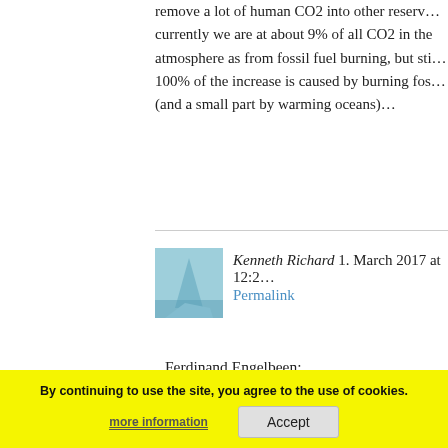remove a lot of human CO2 into other reservo… currently we are at about 9% of all CO2 in the atmosphere as from fossil fuel burning, but still 100% of the increase is caused by burning fos… (and a small part by warming oceans)…
Kenneth Richard 1. March 2017 at 12:2…
Permalink
Ferdinand Engelbeen:
Basic quantities (roughly):
9 GtC human emissions input.
150 +/- 3 GtC in/out within a year as natural cycle.
Your 150 GtC are felt almost 50 GtC accordi… IPCC.
By continuing to use the site, you agree to the use of cookies.
more information
Accept